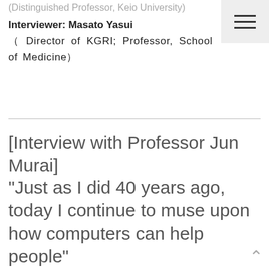(Distinguished Professor, Keio University)
Interviewer: Masato Yasui
( Director of KGRI; Professor, School of Medicine)
[Interview with Professor Jun Murai]
"Just as I did 40 years ago, today I continue to muse upon how computers can help people"
The father of the internet in